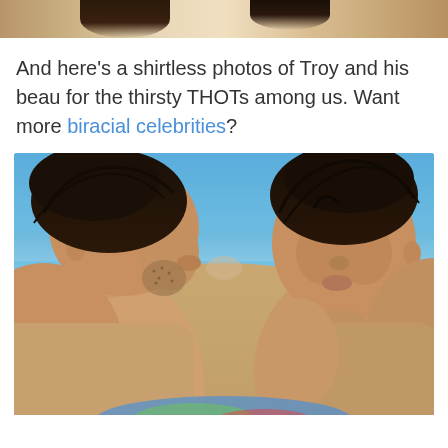[Figure (photo): Partial view of a person at the top of the page, cropped]
And here’s a shirtless photos of Troy and his beau for the thirsty THOTs among us. Want more biracial celebrities?
[Figure (photo): Two shirtless young men at a beach, facing each other, with blue sky and ocean in the background]